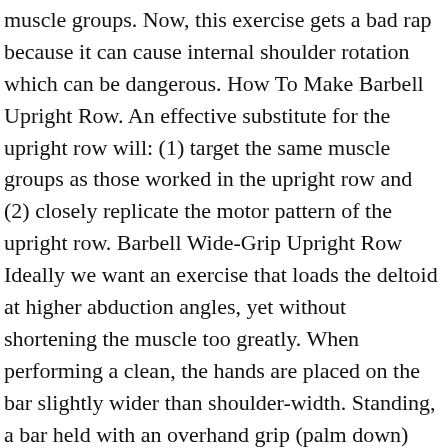muscle groups. Now, this exercise gets a bad rap because it can cause internal shoulder rotation which can be dangerous. How To Make Barbell Upright Row. An effective substitute for the upright row will: (1) target the same muscle groups as those worked in the upright row and (2) closely replicate the motor pattern of the upright row. Barbell Wide-Grip Upright Row Ideally we want an exercise that loads the deltoid at higher abduction angles, yet without shortening the muscle too greatly. When performing a clean, the hands are placed on the bar slightly wider than shoulder-width. Standing, a bar held with an overhand grip (palm down) and hands slightly closer than the width of the shoulders. Yates row: named after Dorian Yates; a row done with underhand grip and a slightly more upright torso than a regular row. Traps: The trap most pumped when your elbows rise above a horizontal position. Step 2: Grab onto the bar with both hands, palms facing down and in towards your body. Muscles Worked The dumbbell upright row is a compound exercise that targets the lats and traps muscles, while increasing mobility throughout the shoulder complex. The main muscles involved in the dumbbell upright row are the trapezius (traps), deltoids (delts), and the biceps. So while upright